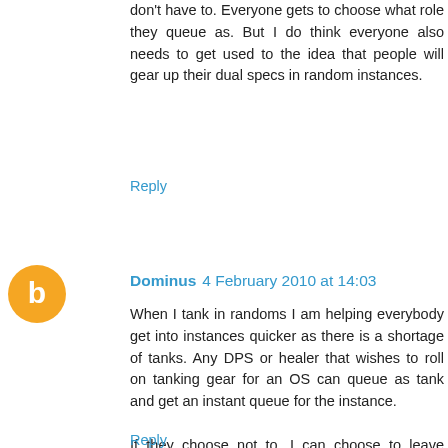don't have to. Everyone gets to choose what role they queue as. But I do think everyone also needs to get used to the idea that people will gear up their dual specs in random instances.
Reply
Dominus 4 February 2010 at 14:03
When I tank in randoms I am helping everybody get into instances quicker as there is a shortage of tanks. Any DPS or healer that wishes to roll on tanking gear for an OS can queue as tank and get an instant queue for the instance.

If they choose not to, I can choose to leave normal HoR if I see any other shield-using class that also has the capability to tank.

I can't be bothered having the gear I specifically queue the instance for as the spec I need the gear for taken by another player who couldn't be arsed to take advantage of the instant queue.
Reply